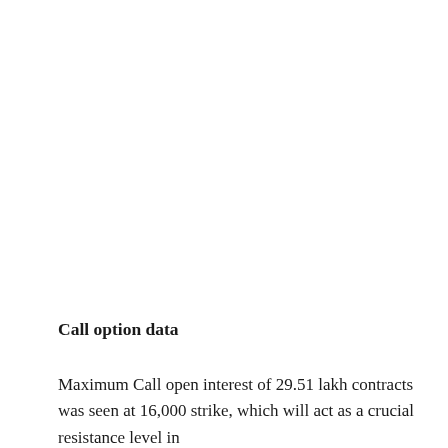Call option data
Maximum Call open interest of 29.51 lakh contracts was seen at 16,000 strike, which will act as a crucial resistance level in the future.